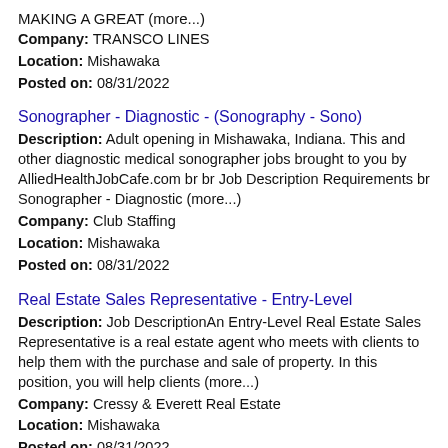MAKING A GREAT (more...)
Company: TRANSCO LINES
Location: Mishawaka
Posted on: 08/31/2022
Sonographer - Diagnostic - (Sonography - Sono)
Description: Adult opening in Mishawaka, Indiana. This and other diagnostic medical sonographer jobs brought to you by AlliedHealthJobCafe.com br br Job Description Requirements br Sonographer - Diagnostic (more...)
Company: Club Staffing
Location: Mishawaka
Posted on: 08/31/2022
Real Estate Sales Representative - Entry-Level
Description: Job DescriptionAn Entry-Level Real Estate Sales Representative is a real estate agent who meets with clients to help them with the purchase and sale of property. In this position, you will help clients (more...)
Company: Cressy & Everett Real Estate
Location: Mishawaka
Posted on: 08/31/2022
Travel Nurse RN - OR - Operating Room - $2,128 per week